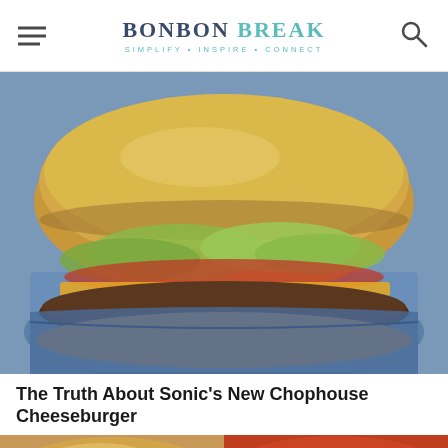BONBON BREAK — SIMPLIFY + INSPIRE + CONNECT
[Figure (photo): Close-up photo of a large Sonic Chophouse Cheeseburger with lettuce, tomato, and cheese on a golden bun, wrapped in blue paper]
The Truth About Sonic's New Chophouse Cheeseburger
[Figure (photo): Food photo on the left - appears to be a pastry or bread item]
[Figure (photo): Food photo on the right - appears to be a dish with red sauce and green herbs]